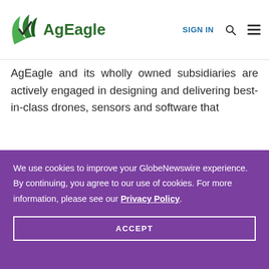AgEagle | SIGN IN
AgEagle and its wholly owned subsidiaries are actively engaged in designing and delivering best-in-class drones, sensors and software that
We use cookies to improve your GlobeNewswire experience. By continuing, you agree to our use of cookies. For more information, please see our Privacy Policy.